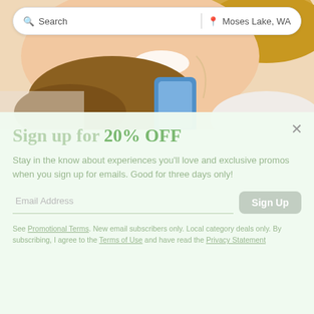[Figure (screenshot): Search bar with search icon and text 'Search', a divider, then a pin icon and 'Moses Lake, WA' location text, rounded rectangle border]
[Figure (photo): Cropped photo of a smiling young woman lying down, holding a blue smartphone, wearing earphones, with light-colored background]
Sign up for 20% OFF
Stay in the know about experiences you'll love and exclusive promos when you sign up for emails. Good for three days only!
Email Address
Sign Up
See Promotional Terms. New email subscribers only. Local category deals only. By subscribing, I agree to the Terms of Use and have read the Privacy Statement